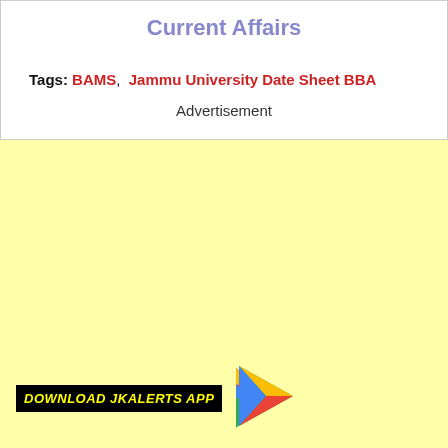Current Affairs
Tags: BAMS,  Jammu University Date Sheet BBA
Advertisement
[Figure (other): Light yellow advertisement placeholder area with Download JKAlerts App badge and Google Play icon at the bottom left]